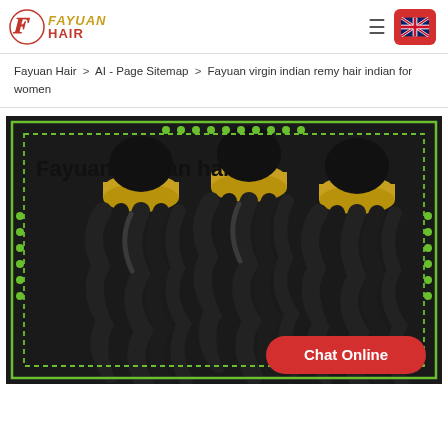[Figure (logo): Fayuan Hair logo with stylized F/H icon in red, text FAYUAN in gold italic and HAIR in red bold]
Fayuan Hair  >  AI - Page Sitemap  >  Fayuan virgin indian remy hair indian for women
[Figure (photo): Banner showing three bundles of deep wave black human hair with green decorative border frame and dotted accents. Text overlay reads 'Fayuan human hair'. Red 'Chat Online' button in bottom right.]